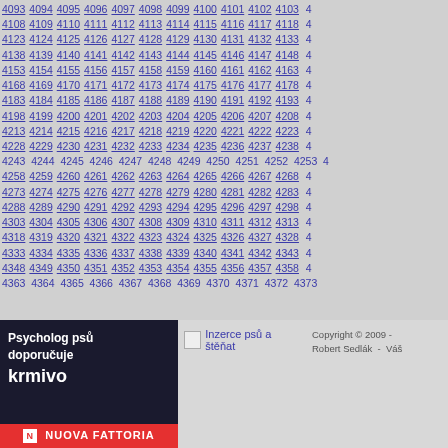4093 4094 4095 4096 4097 4098 4099 4100 4101 4102 4103 ...
[Figure (screenshot): Advertisement banner for Nuova Fattoria dog food with text: Psycholog psů doporučuje krmivo and red brand bar]
Inzerce psů a štěňat
Copyright © 2009 - Robert Sedlák - Váš...